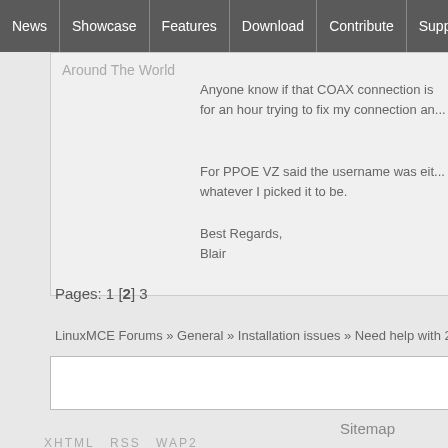News | Showcase | Features | Download | Contribute | Support
Around The World
Anyone know if that COAX connection is for an hour trying to fix my connection an...
For PPOE VZ said the username was eit... whatever I picked it to be.
Best Regards,
Blair
Pages: 1 [2] 3
LinuxMCE Forums » General » Installation issues » Need help with 2 nic standalone co...
Sitemap
XHTML   RSS   WAP2